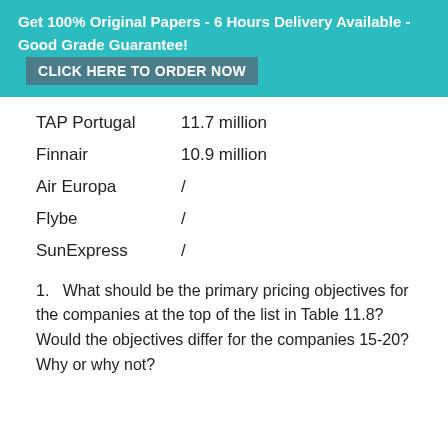Get 100% Original Papers - 6 Hours Delivery Available - Good Grade Guarantee! CLICK HERE TO ORDER NOW
TAP Portugal 11.7 million
Finnair 10.9 million
Air Europa /
Flybe /
SunExpress /
1. What should be the primary pricing objectives for the companies at the top of the list in Table 11.8? Would the objectives differ for the companies 15-20? Why or why not?